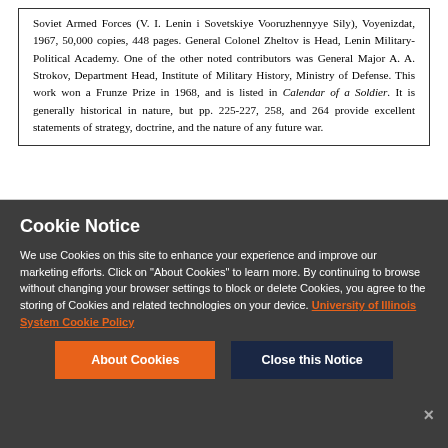Soviet Armed Forces (V. I. Lenin i Sovetskiye Vooruzhennyye Sily), Voyenizdat, 1967, 50,000 copies, 448 pages. General Colonel Zheltov is Head, Lenin Military-Political Academy. One of the other noted contributors was General Major A. A. Strokov, Department Head, Institute of Military History, Ministry of Defense. This work won a Frunze Prize in 1968, and is listed in Calendar of a Soldier. It is generally historical in nature, but pp. 225-227, 258, and 264 provide excellent statements of strategy, doctrine, and the nature of any future war.
[Figure (illustration): Decorative floral/scroll ornament divider]
Cookie Notice

We use Cookies on this site to enhance your experience and improve our marketing efforts. Click on "About Cookies" to learn more. By continuing to browse without changing your browser settings to block or delete Cookies, you agree to the storing of Cookies and related technologies on your device. University of Illinois System Cookie Policy